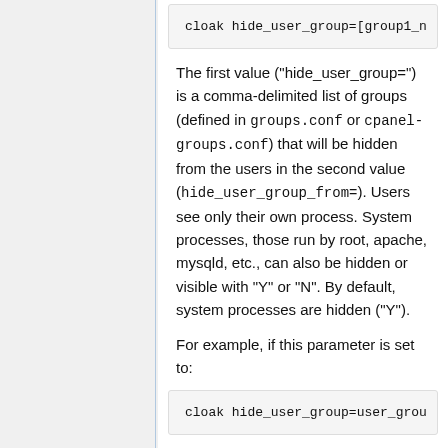[Figure (screenshot): Code block showing: cloak hide_user_group=[group1_...]
The first value ("hide_user_group=") is a comma-delimited list of groups (defined in groups.conf or cpanel-groups.conf) that will be hidden from the users in the second value (hide_user_group_from=). Users see only their own process. System processes, those run by root, apache, mysqld, etc., can also be hidden or visible with "Y" or "N". By default, system processes are hidden ("Y").
For example, if this parameter is set to:
[Figure (screenshot): Code block showing: cloak hide_user_group=user_grou...]
Then all users in user_group1 are hidden from each other.